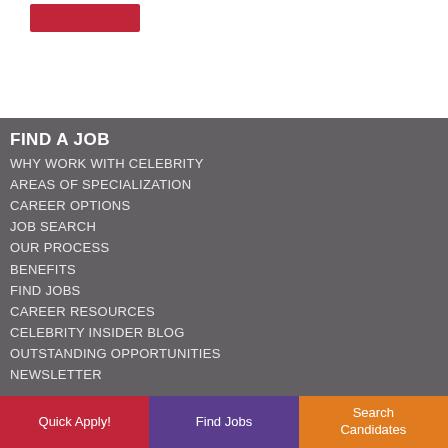[Figure (other): Red button/banner element in upper left of white section]
FIND A JOB
WHY WORK WITH CELEBRITY
AREAS OF SPECIALIZATION
CAREER OPTIONS
JOB SEARCH
OUR PROCESS
BENEFITS
FIND JOBS
CAREER RESOURCES
CELEBRITY INSIDER BLOG
OUTSTANDING OPPORTUNITIES
NEWSLETTER
Quick Apply! | Find Jobs | Search Candidates